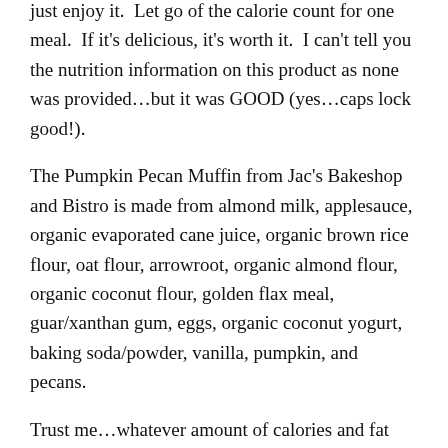just enjoy it.  Let go of the calorie count for one meal.  If it's delicious, it's worth it.  I can't tell you the nutrition information on this product as none was provided…but it was GOOD (yes…caps lock good!).
The Pumpkin Pecan Muffin from Jac's Bakeshop and Bistro is made from almond milk, applesauce, organic evaporated cane juice, organic brown rice flour, oat flour, arrowroot, organic almond flour, organic coconut flour, golden flax meal, guar/xanthan gum, eggs, organic coconut yogurt, baking soda/powder, vanilla, pumpkin, and pecans.
Trust me…whatever amount of calories and fat may be inside this muffin, you won't care.  I don't care.  It was scrumptious!
So, yet again, my Cuisine Cube brought a product that I otherwise would never have known existed into my life.